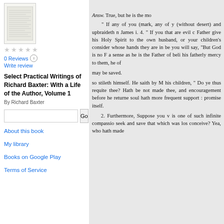[Figure (illustration): Thumbnail image of book cover for Select Practical Writings of Richard Baxter]
0 Reviews
Write review
Select Practical Writings of Richard Baxter: With a Life of the Author, Volume 1
By Richard Baxter
About this book
My library
Books on Google Play
Terms of Service
Answ. True, but he is the mo... " If any of you (mark, any of y (without desert) and upbraideth n James i. 4. " If you that are evil c Father give his Holy Spirit to the own husband, or your children's consider whose hands they are in be you will say, "But God is no F a sense as he is the Father of beli his fatherly mercy to them, he of may be saved. so stileth himself. He saith by M his children, " Do ye thus requite thee? Hath be not made thee, and encouragement before he returne soul hath more frequent support : promise itself. 2. Furthermore, Suppose you v is one of such infinite compassio seek and save that which was los conceive? Yea, who hath made